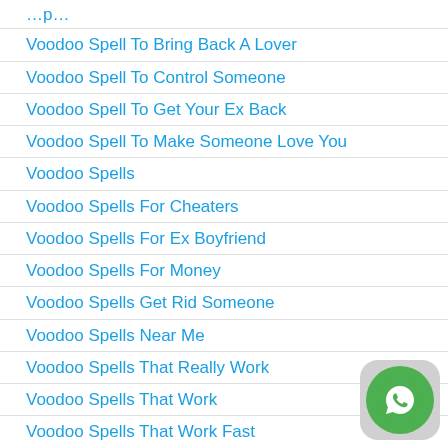Voodoo Spell To Bring Back A Lover
Voodoo Spell To Control Someone
Voodoo Spell To Get Your Ex Back
Voodoo Spell To Make Someone Love You
Voodoo Spells
Voodoo Spells For Cheaters
Voodoo Spells For Ex Boyfriend
Voodoo Spells For Money
Voodoo Spells Get Rid Someone
Voodoo Spells Near Me
Voodoo Spells That Really Work
Voodoo Spells That Work
Voodoo Spells That Work Fast
[Figure (logo): WhatsApp icon — green circle with white phone handset on grey rounded rectangle background]